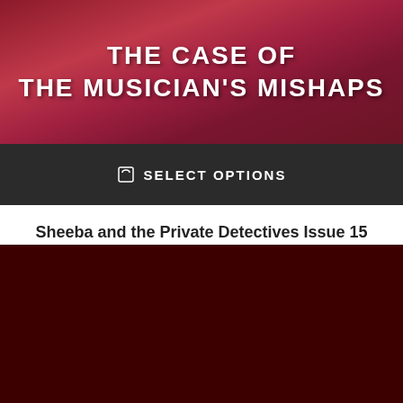[Figure (illustration): Book cover for 'The Case of the Musician's Mishaps' with stylized title text on a red/pink illustrated background]
SELECT OPTIONS
Sheeba and the Private Detectives Issue 15
Rs299.00
Useful links
Home
About
Shop